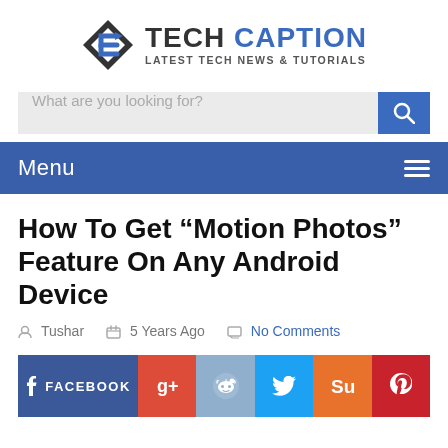[Figure (logo): Tech Caption logo with diamond icon and text 'TECH CAPTION LATEST TECH NEWS & TUTORIALS']
[Figure (screenshot): Search bar with placeholder text 'What are you looking for?' and blue search button]
Menu
How To Get “Motion Photos” Feature On Any Android Device
Tushar   5 Years Ago   No Comments
[Figure (infographic): Social share buttons: Facebook, Google+, Reddit, Twitter, StumbleUpon, Pinterest]